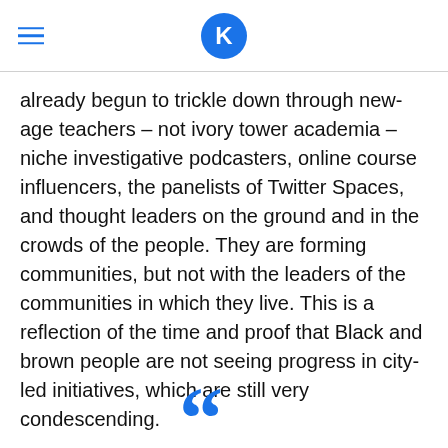K
already begun to trickle down through new-age teachers – not ivory tower academia – niche investigative podcasters, online course influencers, the panelists of Twitter Spaces, and thought leaders on the ground and in the crowds of the people. They are forming communities, but not with the leaders of the communities in which they live. This is a reflection of the time and proof that Black and brown people are not seeing progress in city-led initiatives, which are still very condescending.
[Figure (illustration): Large blue opening quotation marks at the bottom center of the page]